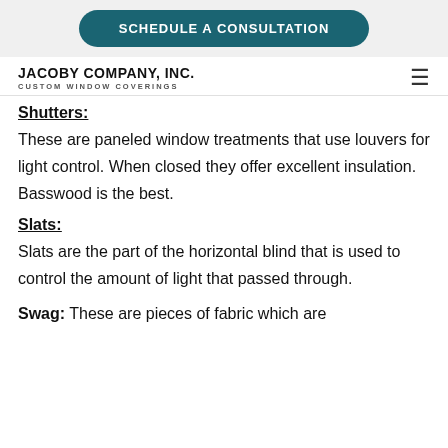[Figure (other): Schedule a Consultation button in teal/dark cyan rounded rectangle]
JACOBY COMPANY, INC. CUSTOM WINDOW COVERINGS
Shutters:
These are paneled window treatments that use louvers for light control. When closed they offer excellent insulation. Basswood is the best.
Slats:
Slats are the part of the horizontal blind that is used to control the amount of light that passed through.
Swag: These are pieces of fabric which are